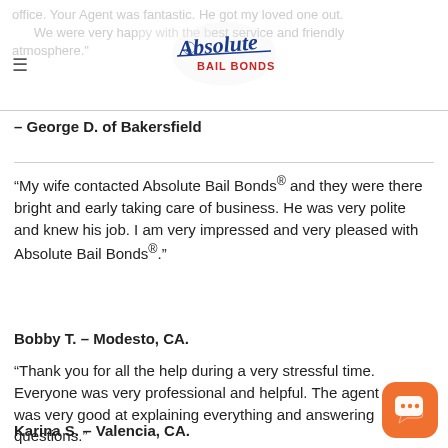office. Your Agent was fantastic. He got my loved one out. We were very happy with the best service and friendly atmosphere.
[Figure (logo): Absolute Bail Bonds logo in blue script text with red 'BAIL BONDS' text below]
– George D. of Bakersfield
“My wife contacted Absolute Bail Bonds® and they were there bright and early taking care of business. He was very polite and knew his job. I am very impressed and very pleased with Absolute Bail Bonds®.”
Bobby T. – Modesto, CA.
“Thank you for all the help during a very stressful time. Everyone was very professional and helpful. The agent was very good at explaining everything and answering questions.”
Karina S. – Valencia, CA.